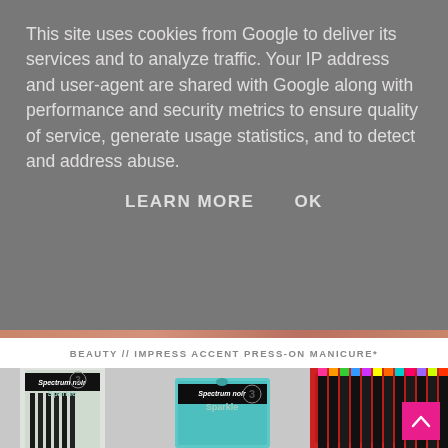This site uses cookies from Google to deliver its services and to analyze traffic. Your IP address and user-agent are shared with Google along with performance and security metrics to ensure quality of service, generate usage statistics, and to detect and address abuse.
LEARN MORE    OK
BEAUTY // IMPRESS ACCENT PRESS-ON MANICURE*
[Figure (photo): Photo of Spectrum Noir Sparkle glitter brush pens packaging and markers in a red holder tray]